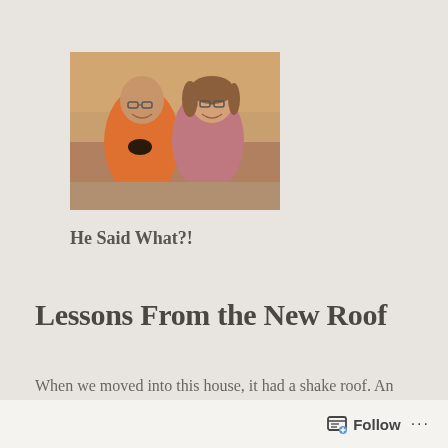[Figure (photo): Two people smiling at a restaurant or casual dining setting. Left person wears an orange t-shirt with a dog silhouette. Right person wears a pink top. Wood paneling visible in background.]
He Said What?!
Lessons From the New Roof
When we moved into this house, it had a shake roof. An old shake roof, weathered and beaten. At least it looked weathered and beaten, but it passed the
Follow ...